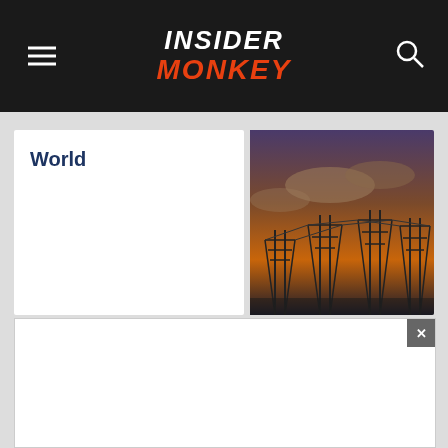INSIDER MONKEY
World
[Figure (photo): Power transmission towers/pylons at sunset with orange sky]
Crypto Crash: 10 Biggest Losers
[Figure (photo): Man looking at multiple computer monitors showing financial/crypto charts]
10 African
[Figure (photo): Partial image of people, blurred]
[Figure (other): Advertisement overlay with close button (x)]